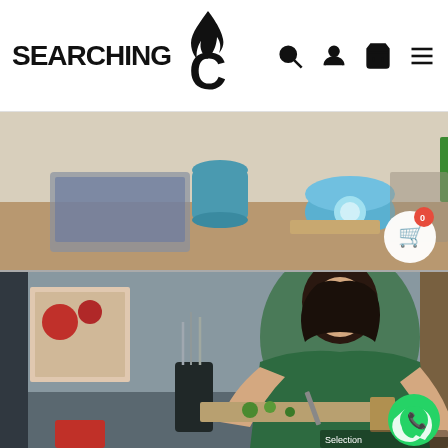[Figure (logo): Searching C logo with flame icon on top of the C letter, bold uppercase text SEARCHING C, followed by navigation icons: search, account, cart, menu]
[Figure (photo): A small blue cylindrical robot device (appears to be Cue robot) on a wooden desk with a green potted plant and other office items in the background. A cart icon with red badge showing 0 is overlaid in bottom right corner.]
[Figure (photo): A woman wearing a green top cooking in a kitchen, cutting vegetables on a cutting board. Knife block and various kitchen items visible. WhatsApp button overlaid in bottom right corner.]